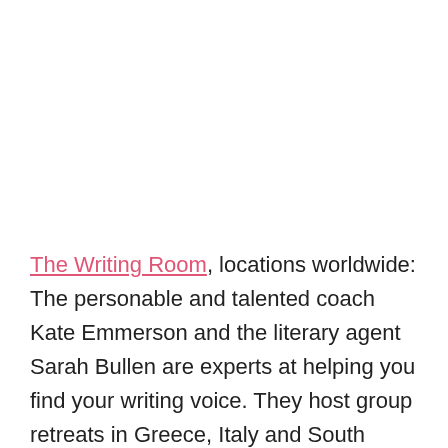The Writing Room, locations worldwide: The personable and talented coach Kate Emmerson and the literary agent Sarah Bullen are experts at helping you find your writing voice. They host group retreats in Greece, Italy and South Africa, mainly focused on nonfiction and memoir writing. This year, the creative pair also launch a supported, private writing space in an idyllic house on Iona in Scotland. Book a Greek retreat from 2 to 9 or 10